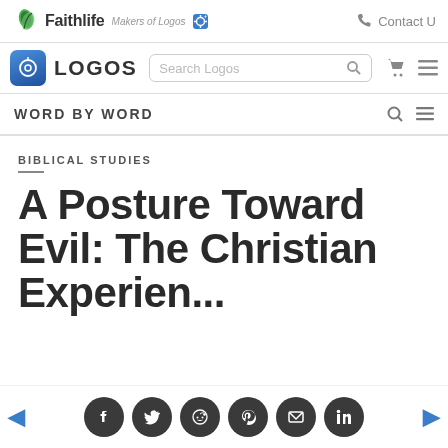Faithlife Makers of Logos | Contact Us
[Figure (screenshot): Logos Bible Software navigation bar with search box, cart icon, and menu icon]
WORD BY WORD
BIBLICAL STUDIES
A Posture Toward Evil: The Christian Experience...
[Figure (infographic): Social sharing buttons: Facebook, Twitter, Reddit, Pinterest, Email, LinkedIn with left and right navigation arrows]